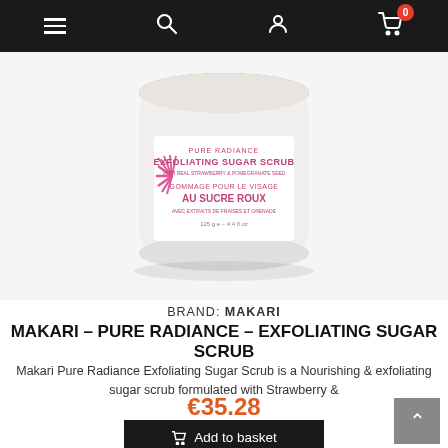Navigation bar with menu, search, account, and cart (0 items) icons
[Figure (photo): White jar of Makari Pure Radiance Exfoliating Sugar Scrub with pink label text, 125g / 4.4 fl oz]
BRAND: MAKARI
MAKARI – PURE RADIANCE – EXFOLIATING SUGAR SCRUB
Makari Pure Radiance Exfoliating Sugar Scrub is a Nourishing & exfoliating sugar scrub formulated with Strawberry &
€35.28
Add to basket
In stock